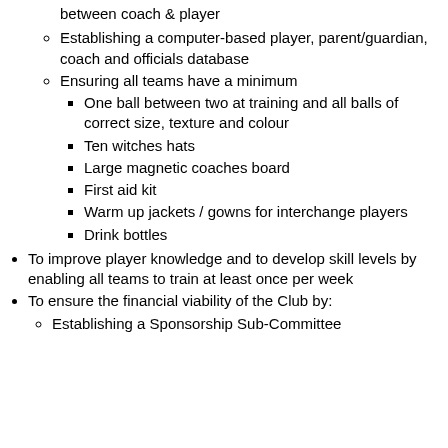between coach & player
Establishing a computer-based player, parent/guardian, coach and officials database
Ensuring all teams have a minimum
One ball between two at training and all balls of correct size, texture and colour
Ten witches hats
Large magnetic coaches board
First aid kit
Warm up jackets / gowns for interchange players
Drink bottles
To improve player knowledge and to develop skill levels by enabling all teams to train at least once per week
To ensure the financial viability of the Club by:
Establishing a Sponsorship Sub-Committee